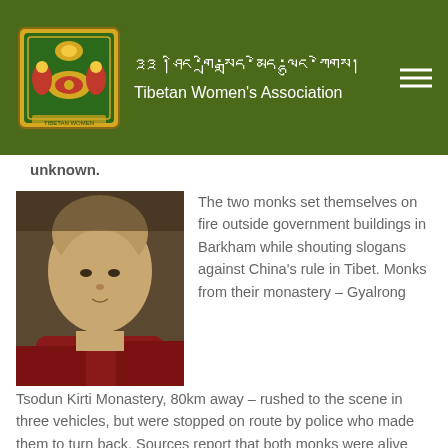Tibetan Women's Association
unknown.
[Figure (photo): Portrait photo of a young Tibetan monk wearing a dark red robe, with shaved head, looking slightly downward.]
The two monks set themselves on fire outside government buildings in Barkham while shouting slogans against China's rule in Tibet. Monks from their monastery – Gyalrong Tsodun Kirti Monastery, 80km away – rushed to the scene in three vehicles, but were stopped on route by police who made them to turn back. Sources report that both monks were alive when they were taken to the hospital by security officers. Tenpa Dhargyal and Chime Palden both